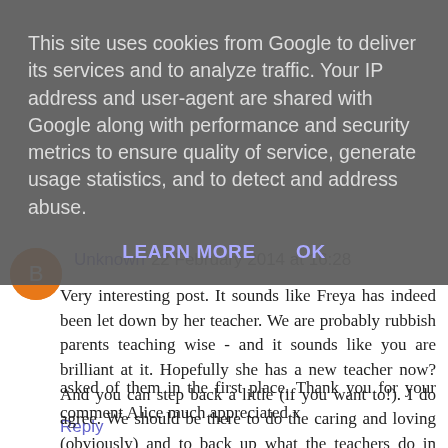This site uses cookies from Google to deliver its services and to analyze traffic. Your IP address and user-agent are shared with Google along with performance and security metrics to ensure quality of service, generate usage statistics, and to detect and address abuse.
LEARN MORE   OK
asked of them in the first place. Thank you for your comment Alice much appreciated x
Reply
Unknown   22 February 2014 at 16:28
Very interesting post. It sounds like Freya has indeed been let down by her teacher. We are probably rubbish parents teaching wise - and it sounds like you are brilliant at it. Hopefully she has a new teacher now? And you can step back a little (if you want to!). I do agree. We should be there to do the caring and loving (obviously) and to back up what the teachers do in school. Just to let you know, we've featured you in our PBloggers Weekly Roundup: